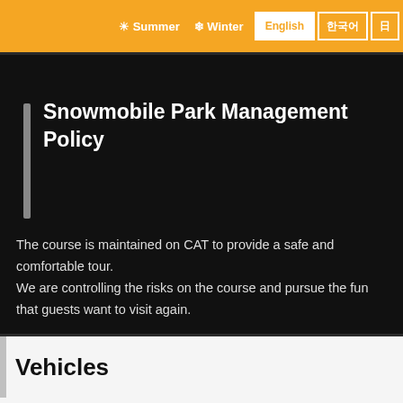☀ Summer  ❄ Winter  English  한국어  日
Snowmobile Park Management Policy
The course is maintained on CAT to provide a safe and comfortable tour.
We are controlling the risks on the course and pursue the fun that guests want to visit again.
Vehicles